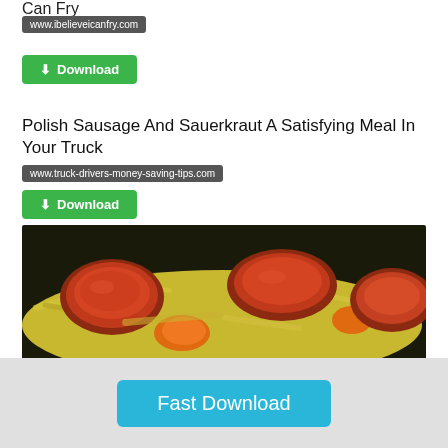Can Fry
www.ibelieveicanfry.com
Download
Polish Sausage And Sauerkraut A Satisfying Meal In Your Truck
www.truck-drivers-money-saving-tips.com
Download
[Figure (photo): Polish sausage and sauerkraut dish — sliced sausage pieces with shredded sauerkraut and orange peppers in a pan.]
Fast Download